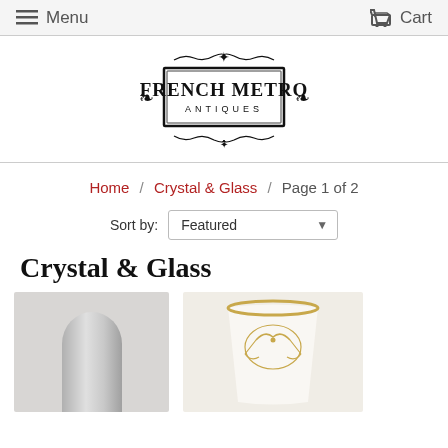Menu   Cart
[Figure (logo): French Metro Antiques ornate logo with decorative border and fleur-de-lis]
Home / Crystal & Glass / Page 1 of 2
Sort by: Featured
Crystal & Glass
[Figure (photo): Glass dome/cloche product thumbnail - grey glass bell shape]
[Figure (photo): White and gold porcelain cup/glass with decorative bow motif and gold rim]